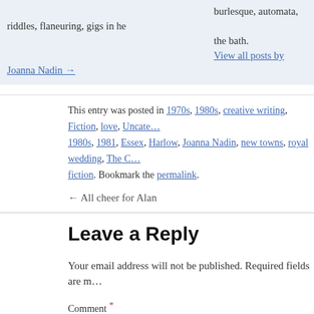burlesque, automata, riddles, flaneuring, gigs in he... the bath.
View all posts by Joanna Nadin →
This entry was posted in 1970s, 1980s, creative writing, Fiction, love, Uncate... 1980s, 1981, Essex, Harlow, Joanna Nadin, new towns, royal wedding, The C... fiction. Bookmark the permalink.
← All cheer for Alan
Leave a Reply
Your email address will not be published. Required fields are m...
Comment *